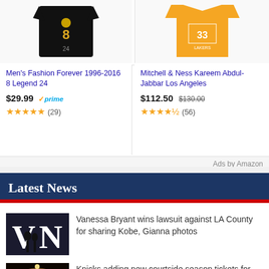[Figure (photo): Product image: dark t-shirt with basketball figure, Men's Fashion Forever]
Men's Fashion Forever 1996-2016 8 Legend 24
$29.99 prime (29 reviews, 5 stars)
[Figure (photo): Product image: yellow Lakers jersey, Mitchell & Ness Kareem Abdul-Jabbar]
Mitchell & Ness Kareem Abdul-Jabbar Los Angeles
$112.50 $130.00 (56 reviews, 4.5 stars)
Ads by Amazon
Latest News
[Figure (photo): Photo of Vanessa Bryant at event, large letters V N in background]
Vanessa Bryant wins lawsuit against LA County for sharing Kobe, Gianna photos
[Figure (photo): Aerial view of basketball arena interior with lights]
Knicks adding new courtside season tickets for $3K apiece